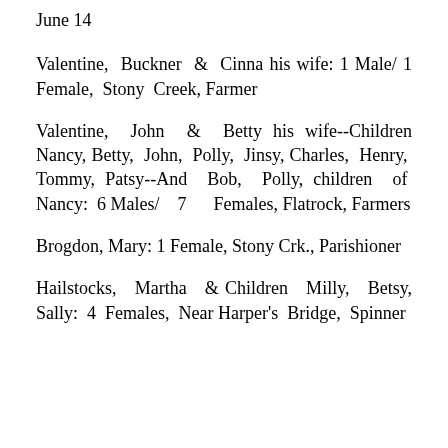June 14
Valentine, Buckner & Cinna his wife: 1 Male/ 1 Female, Stony Creek, Farmer
Valentine, John & Betty his wife--Children Nancy, Betty, John, Polly, Jinsy, Charles, Henry, Tommy, Patsy--And Bob, Polly, children of Nancy: 6 Males/ 7 Females, Flatrock, Farmers
Brogdon, Mary: 1 Female, Stony Crk., Parishioner
Hailstocks, Martha & Children Milly, Betsy, Sally: 4 Females, Near Harper's Bridge, Spinner